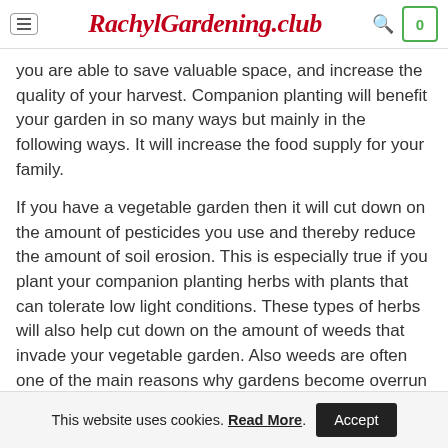RachylGardening.club
you are able to save valuable space, and increase the quality of your harvest. Companion planting will benefit your garden in so many ways but mainly in the following ways. It will increase the food supply for your family.
If you have a vegetable garden then it will cut down on the amount of pesticides you use and thereby reduce the amount of soil erosion. This is especially true if you plant your companion planting herbs with plants that can tolerate low light conditions. These types of herbs will also help cut down on the amount of weeds that invade your vegetable garden. Also weeds are often one of the main reasons why gardens become overrun by more dangerous insects such as aphids and black flies.
This website uses cookies. Read More. Accept